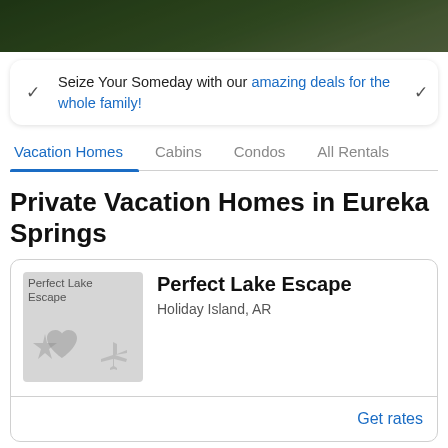[Figure (photo): Dark photo banner of a street/neighborhood scene at the top of the page]
Seize Your Someday with our amazing deals for the whole family!
Vacation Homes  Cabins  Condos  All Rentals
Private Vacation Homes in Eureka Springs
[Figure (photo): Placeholder image for Perfect Lake Escape listing with broken image icons]
Perfect Lake Escape
Holiday Island, AR
Get rates